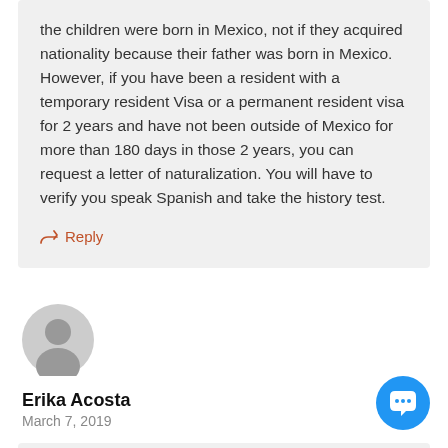the children were born in Mexico, not if they acquired nationality because their father was born in Mexico. However, if you have been a resident with a temporary resident Visa or a permanent resident visa for 2 years and have not been outside of Mexico for more than 180 days in those 2 years, you can request a letter of naturalization. You will have to verify you speak Spanish and take the history test.
Reply
[Figure (illustration): Generic grey user avatar icon (silhouette of a person in a circle)]
Erika Acosta
March 7, 2019